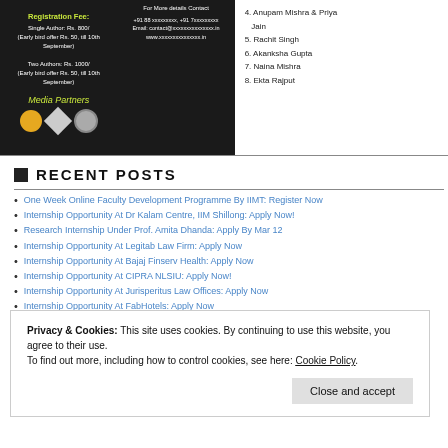[Figure (screenshot): Top left: dark background promotional flyer with registration fee info, contact details, media partners logos. Top right: numbered list of names 4-8.]
4. Anupam Mishra & Priya Jain
5. Rachit Singh
6. Akanksha Gupta
7. Naina Mishra
8. Ekta Rajput
RECENT POSTS
One Week Online Faculty Development Programme By IIMT: Register Now
Internship Opportunity At Dr Kalam Centre, IIM Shillong: Apply Now!
Research Internship Under Prof. Amita Dhanda: Apply By Mar 12
Internship Opportunity At Legitab Law Firm: Apply Now
Internship Opportunity At Bajaj Finserv Health: Apply Now
Internship Opportunity At CIPRA NLSIU: Apply Now!
Internship Opportunity At Jurisperitus Law Offices: Apply Now
Internship Opportunity At FabHotels: Apply Now
Internship Opportunity At Anoop & Co: Apply Now!
Internship Opportunity At S.Bhambri And Associates: Apply Now!
Privacy & Cookies: This site uses cookies. By continuing to use this website, you agree to their use.
To find out more, including how to control cookies, see here: Cookie Policy
Close and accept